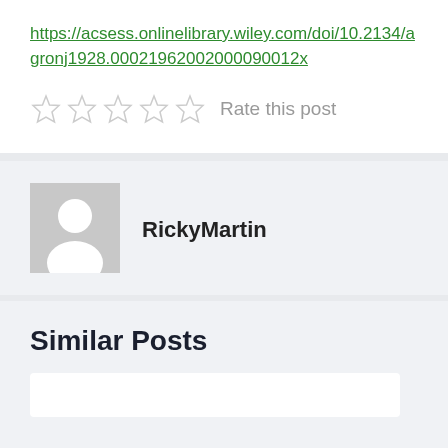https://acsess.onlinelibrary.wiley.com/doi/10.2134/agronj1928.00021962002000090012x
Rate this post
RickyMartin
Similar Posts